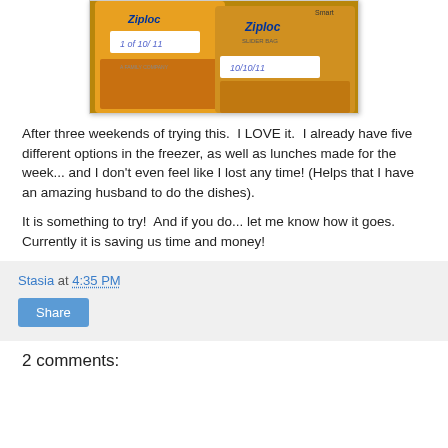[Figure (photo): Two Ziploc freezer bags with food inside, labeled with dates (10/10/11). The bags appear to contain meals or ingredients for freezer meal prep.]
After three weekends of trying this.  I LOVE it.  I already have five different options in the freezer, as well as lunches made for the week... and I don't even feel like I lost any time!  (Helps that I have an amazing husband to do the dishes).
It is something to try!  And if you do... let me know how it goes.  Currently it is saving us time and money!
Stasia at 4:35 PM
Share
2 comments: